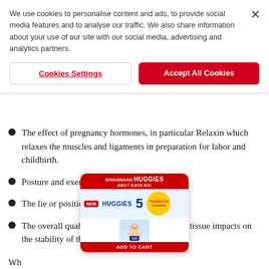We use cookies to personalise content and ads, to provide social media features and to analyse our traffic. We also share information about your use of our site with our social media, advertising and analytics partners.
Cookies Settings
Accept All Cookies
The effect of pregnancy hormones, in particular Relaxin which relaxes the muscles and ligaments in preparation for labor and childbirth.
Posture and exercise routines.
The lie or position of the baby.
The overall quality of the mother's connective tissue impacts on the stability of the pelvis.
[Figure (other): Huggies diaper advertisement overlay showing 'GINHAWANG HUGGIES ABOT KAYA NA!' with NEW badge, Huggies brand, number 5, Touches of Comfort badge, a baby image, and ADD TO CART button.]